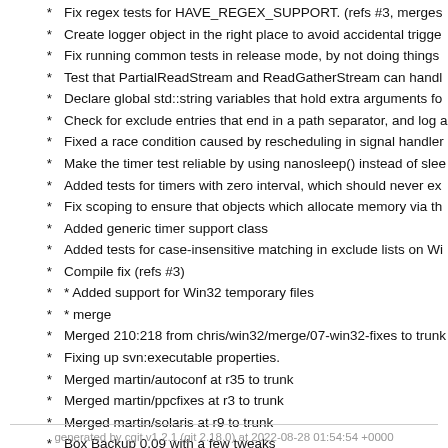* Fix regex tests for HAVE_REGEX_SUPPORT. (refs #3, merges...
* Create logger object in the right place to avoid accidental trigge...
* Fix running common tests in release mode, by not doing things...
* Test that PartialReadStream and ReadGatherStream can handl...
* Declare global std::string variables that hold extra arguments fo...
* Check for exclude entries that end in a path separator, and log a...
* Fixed a race condition caused by rescheduling in signal handler...
* Make the timer test reliable by using nanosleep() instead of slee...
* Added tests for timers with zero interval, which should never ex...
* Fix scoping to ensure that objects which allocate memory via th...
* Added generic timer support class
* Added tests for case-insensitive matching in exclude lists on Wi...
* Compile fix (refs #3)
* * Added support for Win32 temporary files
* * merge
* Merged 210:218 from chris/win32/merge/07-win32-fixes to trunk...
* Fixing up svn:executable properties.
* Merged martin/autoconf at r35 to trunk
* Merged martin/ppcfixes at r3 to trunk
* Merged martin/solaris at r9 to trunk
* Box Backup 0.09 with a few tweaks
generated by cgit v1.2.1 (git 2.18.0) at 2022-08-28 01:54:54 +0000